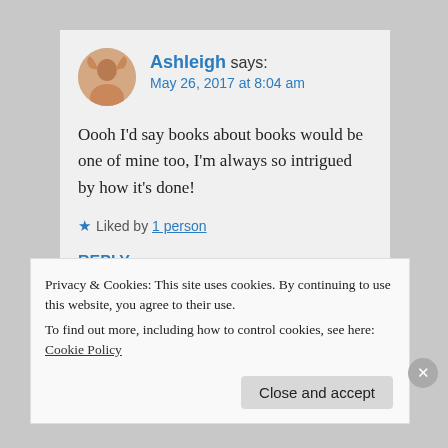Ashleigh says: May 26, 2017 at 8:04 am
Oooh I'd say books about books would be one of mine too, I'm always so intrigued by how it's done!
★ Liked by 1 person
REPLY
Privacy & Cookies: This site uses cookies. By continuing to use this website, you agree to their use. To find out more, including how to control cookies, see here: Cookie Policy
Close and accept